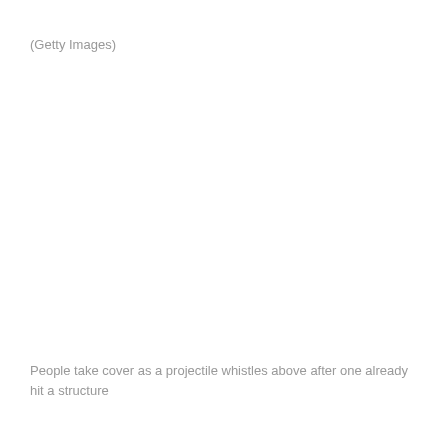(Getty Images)
People take cover as a projectile whistles above after one already hit a structure